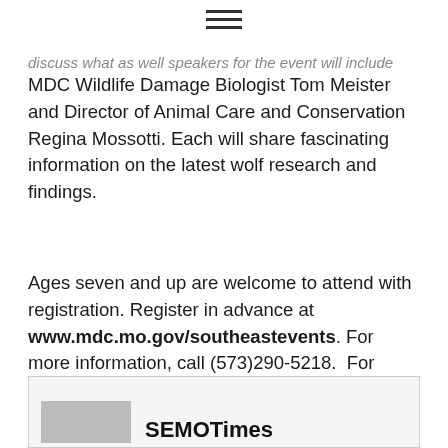≡
discuss what as well speakers for the event will include MDC Wildlife Damage Biologist Tom Meister and Director of Animal Care and Conservation Regina Mossotti. Each will share fascinating information on the latest wolf research and findings.
Ages seven and up are welcome to attend with registration. Register in advance at www.mdc.mo.gov/southeastevents. For more information, call (573)290-5218.  For more information about the Cape Girardeau Conservation Nature Center go online to www.mdc.mo.gov/capenaturecenter.
SEMOTimes